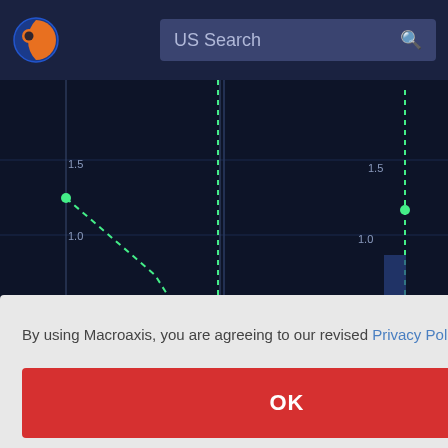[Figure (logo): Macroaxis globe logo — orange and blue circular icon]
US Search
[Figure (continuous-plot): Dark blue financial chart showing dashed green lines with data points forming a V-shape on the left panel, and a separate dashed green line descending on the right panel, with bar overlays and y-axis labels 0.5, 1.0, 1.5]
By using Macroaxis, you are agreeing to our revised Privacy Policy
OK
Astronics' market sentiment shows the aggregated news